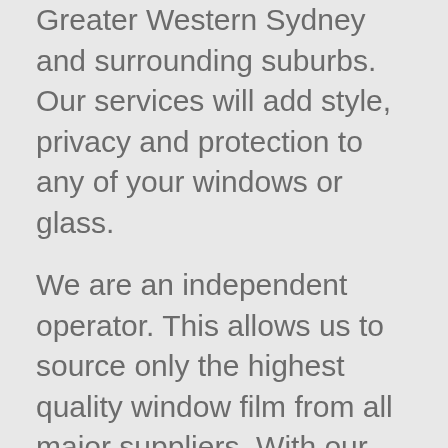Greater Western Sydney and surrounding suburbs. Our services will add style, privacy and protection to any of your windows or glass.
We are an independent operator. This allows us to source only the highest quality window film from all major suppliers. With our team, you can expect a professional window film application for any job, any time.
Looking for ways to decorate, add privacy, safety or vision control to your glass walls? Why not talk to us about